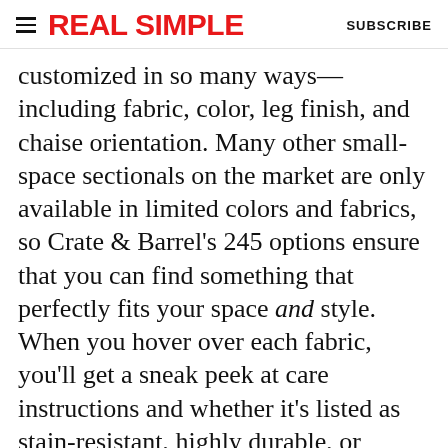REAL SIMPLE | SUBSCRIBE
customized in so many ways—including fabric, color, leg finish, and chaise orientation. Many other small-space sectionals on the market are only available in limited colors and fabrics, so Crate & Barrel's 245 options ensure that you can find something that perfectly fits your space and style. When you hover over each fabric, you'll get a sneak peek at care instructions and whether it's listed as stain-resistant, highly durable, or family friendly.
One thing to keep in mind: Because each
[Figure (infographic): Target advertisement banner with red background, Target bullseye logo, text 'Find all your fall faves.' and a bottle image on the right]